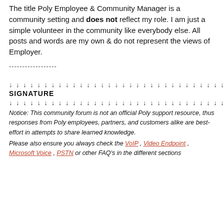The title Poly Employee & Community Manager is a community setting and does not reflect my role. I am just a simple volunteer in the community like everybody else. All posts and words are my own & do not represent the views of Employer.
------------------
↓ ↓ ↓ ↓ ↓ ↓ ↓ ↓ ↓ ↓ ↓ ↓ ↓ ↓ ↓ ↓ ↓ ↓ ↓ ↓ ↓ ↓ ↓ ↓ ↓ ↓ ↓ ↓ ↓ ↓ ↓ ↓ ↓ ↓ ↓ ↓ ↓
SIGNATURE
↓ ↓ ↓ ↓ ↓ ↓ ↓ ↓ ↓ ↓ ↓ ↓ ↓ ↓ ↓ ↓ ↓ ↓ ↓ ↓ ↓ ↓ ↓ ↓ ↓ ↓ ↓ ↓ ↓ ↓ ↓ ↓ ↓ ↓ ↓ ↓
Notice: This community forum is not an official Poly support resource, thus responses from Poly employees, partners, and customers alike are best-effort in attempts to share learned knowledge.
Please also ensure you always check the VoIP, Video Endpoint, Microsoft Voice, PSTN or other FAQ's in the different sections